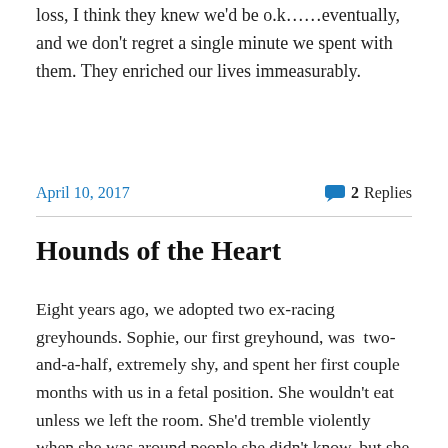loss, I think they knew we'd be o.k……eventually, and we don't regret a single minute we spent with them. They enriched our lives immeasurably.
April 10, 2017   💬 2 Replies
Hounds of the Heart
Eight years ago, we adopted two ex-racing greyhounds. Sophie, our first greyhound, was  two-and-a-half, extremely shy, and spent her first couple months with us in a fetal position. She wouldn't eat unless we left the room. She'd tremble violently when she was around people she didn't know, but she slowly started getting used to us